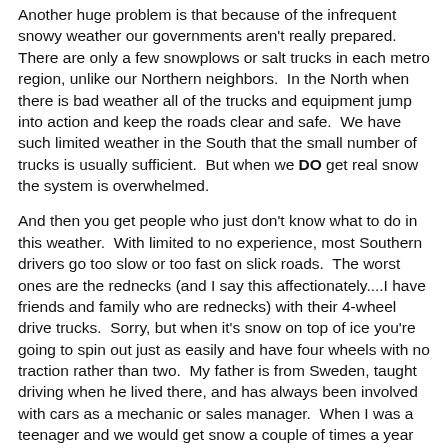Another huge problem is that because of the infrequent snowy weather our governments aren't really prepared.  There are only a few snowplows or salt trucks in each metro region, unlike our Northern neighbors.  In the North when there is bad weather all of the trucks and equipment jump into action and keep the roads clear and safe.  We have such limited weather in the South that the small number of trucks is usually sufficient.  But when we DO get real snow the system is overwhelmed.
And then you get people who just don't know what to do in this weather.  With limited to no experience, most Southern drivers go too slow or too fast on slick roads.  The worst ones are the rednecks (and I say this affectionately....I have friends and family who are rednecks) with their 4-wheel drive trucks.  Sorry, but when it's snow on top of ice you're going to spin out just as easily and have four wheels with no traction rather than two.  My father is from Sweden, taught driving when he lived there, and has always been involved with cars as a mechanic or sales manager.  When I was a teenager and we would get snow a couple of times a year he would take me out in it and teach me how to be safe.  He